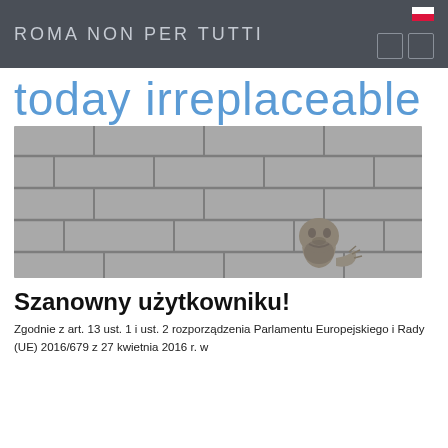ROMA NON PER TUTTI
today irreplaceable
[Figure (photo): Close-up photograph of stone masonry wall with a carved stone grotesque or gargoyle figure protruding from the wall, in black and white / desaturated tones.]
Szanowny użytkowniku!
Zgodnie z art. 13 ust. 1 i ust. 2 rozporządzenia Parlamentu Europejskiego i Rady (UE) 2016/679 z 27 kwietnia 2016 r. w